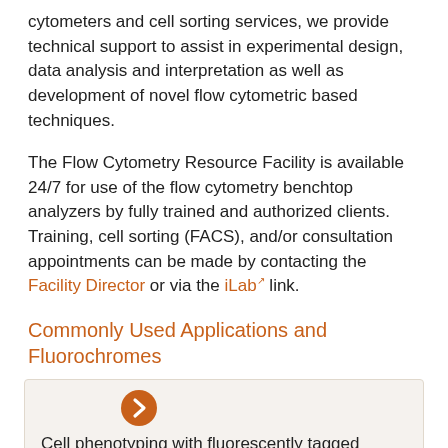cytometers and cell sorting services, we provide technical support to assist in experimental design, data analysis and interpretation as well as development of novel flow cytometric based techniques.
The Flow Cytometry Resource Facility is available 24/7 for use of the flow cytometry benchtop analyzers by fully trained and authorized clients. Training, cell sorting (FACS), and/or consultation appointments can be made by contacting the Facility Director or via the iLab link.
Commonly Used Applications and Fluorochromes
Cell phenotyping with fluorescently tagged monoclonal antibodies. Common fluorochromes include: FITC; Alexa350, Al-405, Al-488, Al-568, Al-594, Al-633, Al-647…